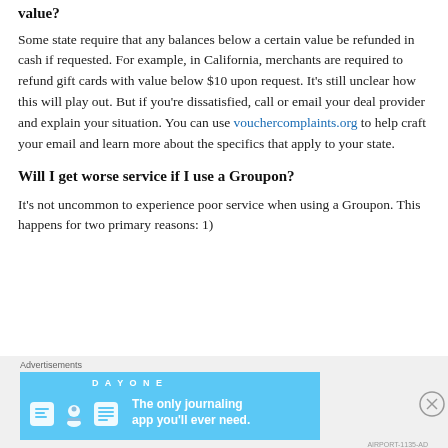value?
Some state require that any balances below a certain value be refunded in cash if requested. For example, in California, merchants are required to refund gift cards with value below $10 upon request. It’s still unclear how this will play out. But if you’re dissatisfied, call or email your deal provider and explain your situation. You can use vouchercomplaints.org to help craft your email and learn more about the specifics that apply to your state.
Will I get worse service if I use a Groupon?
It’s not uncommon to experience poor service when using a Groupon. This happens for two primary reasons: 1)
Advertisements
[Figure (other): Day One journaling app advertisement banner with light blue background, app icons, and text: The only journaling app you'll ever need.]